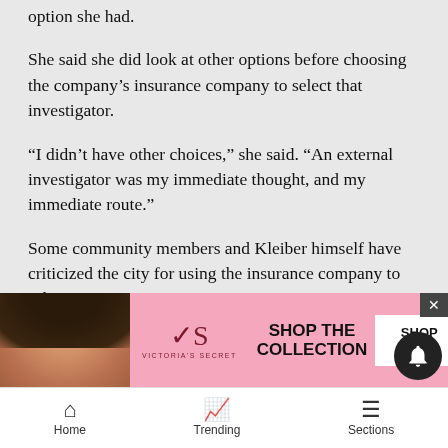option she had.
She said she did look at other options before choosing the company's insurance company to select that investigator.
“I didn’t have other choices,” she said. “An external investigator was my immediate thought, and my immediate route.”
Some community members and Kleiber himself have criticized the city for using the insurance company to select an investigator.
Coogan, who was the first female police chief in the Denver metro area before becoming an investigator, also di[...] contro[...]
[Figure (screenshot): Victoria's Secret advertisement banner with model, VS logo, SHOP THE COLLECTION text, and SHOP NOW button]
Home   Trending   Sections